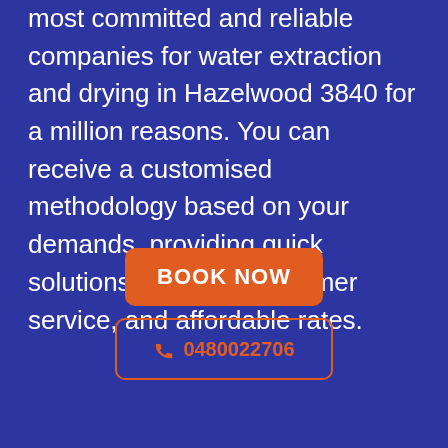most committed and reliable companies for water extraction and drying in Hazelwood 3840 for a million reasons. You can receive a customised methodology based on your demands, providing quick solutions, amazing customer service, and affordable rates.
BOOK NOW
0480022706